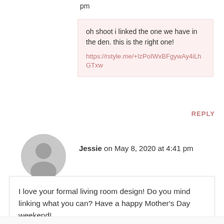pm
oh shoot i linked the one we have in the den. this is the right one!
https://rstyle.me/+IzPoIWxBFgywAy4iLhGTxw
REPLY
[Figure (illustration): Generic user avatar: grey circle with silhouette of a person]
Jessie on May 8, 2020 at 4:41 pm
I love your formal living room design! Do you mind linking what you can? Have a happy Mother's Day weekend!